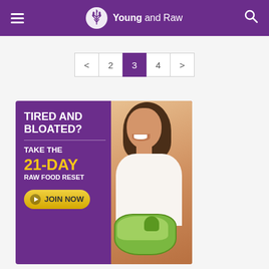Young and Raw
[Figure (screenshot): Pagination bar showing: < 2 [3] 4 >]
[Figure (infographic): Advertisement banner: TIRED AND BLOATED? TAKE THE 21-DAY RAW FOOD RESET. JOIN NOW button. Purple background with orange accent and woman holding salad bowl.]